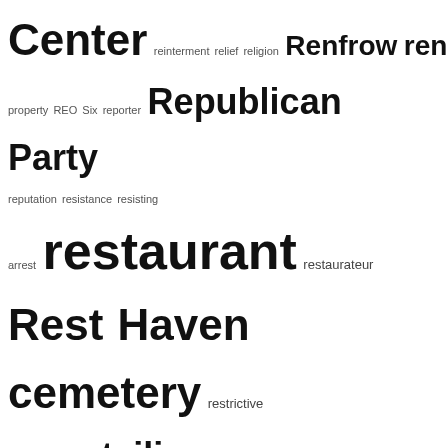Center reinterment relief religion Renfrow renovation rental housing rental property REO Six reporter Republican Party reputation resistance resisting arrest restaurant restaurateur Rest Haven cemetery restrictive covenant retailing liquor retail store retirement retraction Revell revival revival meeting revolutionary Revolutionary War revue reward rheumatism Rhyne Rice Rich Richardson Richmond Richmond VA Ricker Ricks Riggins right of way Rigsley rivalry Rives road camp road duty road gang roadhouse road improvement road maintenance road map roads roadshow roadwork road work robbery Robbins Roberson Roberts Robeson County Robeson County NC Robeson Street Robins Robinson Rocky Mount NC Rodgers Rogers rooster rootwork Rose Rosemond Rosenwald school Ross Roundtree Rountree Rountree cemetery Rountree Place Rowe Royall Ruff Ruffin rummage sale rumor runaway runaway slave Russell Rutherford Ruth Whitehead Whaley Sabbath saddlebag house safe Saidiya Hartman sailor Saint Agnes Hospital Saint Agnes Hospital